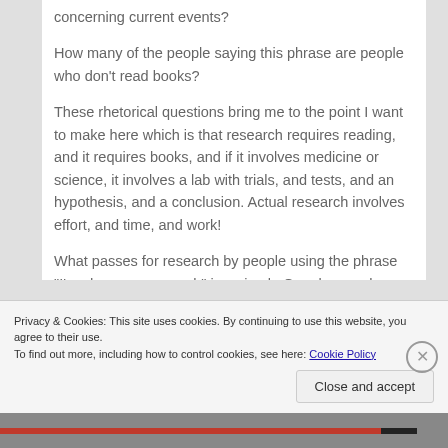concerning current events?
How many of the people saying this phrase are people who don’t read books?
These rhetorical questions bring me to the point I want to make here which is that research requires reading, and it requires books, and if it involves medicine or science, it involves a lab with trials, and tests, and an hypothesis, and a conclusion. Actual research involves effort, and time, and work!
What passes for research by people using the phrase “I’ve done my research” is a simple Google search where the user looks at the top five results or only
Privacy & Cookies: This site uses cookies. By continuing to use this website, you agree to their use.
To find out more, including how to control cookies, see here: Cookie Policy
Close and accept